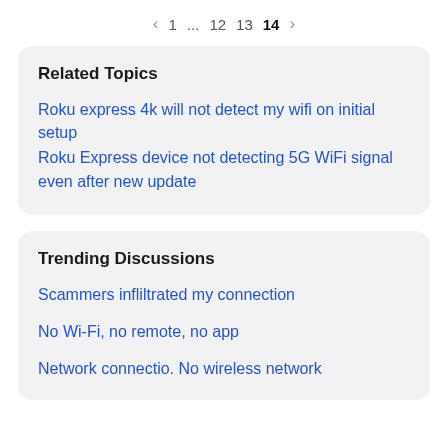< 1 ... 12 13 14 >
Related Topics
Roku express 4k will not detect my wifi on initial setup
Roku Express device not detecting 5G WiFi signal even after new update
Trending Discussions
Scammers infliltrated my connection
No Wi-Fi, no remote, no app
Network connectio. No wireless network